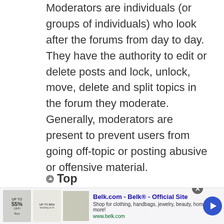Moderators are individuals (or groups of individuals) who look after the forums from day to day. They have the authority to edit or delete posts and lock, unlock, move, delete and split topics in the forum they moderate. Generally, moderators are present to prevent users from going off-topic or posting abusive or offensive material.
▲ Top
[Figure (screenshot): Advertisement banner for Belk.com showing 'Belk® - Official Site' with thumbnail images of bedding/home goods, description 'Shop for clothing, handbags, jewelry, beauty, home & more!' and URL www.belk.com, with a blue forward arrow button and close button.]